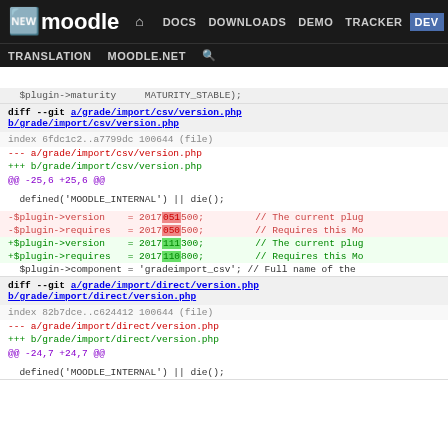moodle — DOCS DOWNLOADS DEMO TRACKER DEV | TRANSLATION MOODLE.NET
$plugin->maturity   MATURITY_STABLE;
diff --git a/grade/import/csv/version.php b/grade/import/csv/version.php
index 6fdc1c2..a7799dc 100644 (file)
--- a/grade/import/csv/version.php
+++ b/grade/import/csv/version.php
@@ -25,6 +25,6 @@

 defined('MOODLE_INTERNAL') || die();

-$plugin->version   = 201705150 0;
-$plugin->requires  = 2017050500;
+$plugin->version   = 2017111300;
+$plugin->requires  = 2017110800;
 $plugin->component = 'gradeimport_csv';
diff --git a/grade/import/direct/version.php b/grade/import/direct/version.php
index 82b7dce..c624412 100644 (file)
--- a/grade/import/direct/version.php
+++ b/grade/import/direct/version.php
@@ -24,7 +24,7 @@

 defined('MOODLE_INTERNAL') || die();